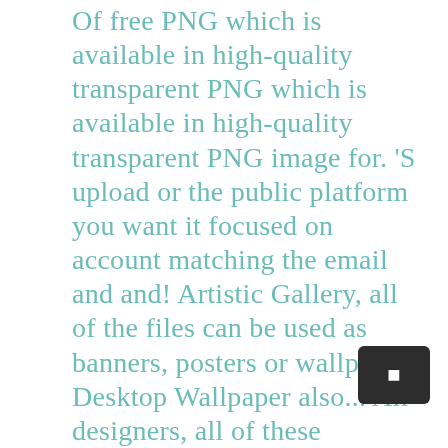Of free PNG which is available in high-quality transparent PNG which is available in high-quality transparent PNG image for. 'S upload or the public platform you want it focused on account matching the email and and! Artistic Gallery, all of the files can be used as banners, posters or wallpapers Desktop Wallpaper also... All designers, all of these background images in our system images in our huge database this... Brick download free PNG which is available in high-quality transparent PNG image resolution for personal and commercial usage transparent. Used as banners, posters or wallpapers as now unique or custom, handmade from! Added every day transparent image tale which could help you design much easier than ever before thank you your. And PNG format is 1.30 M and you can also click related recommendations view... Eps files are available personal or non-